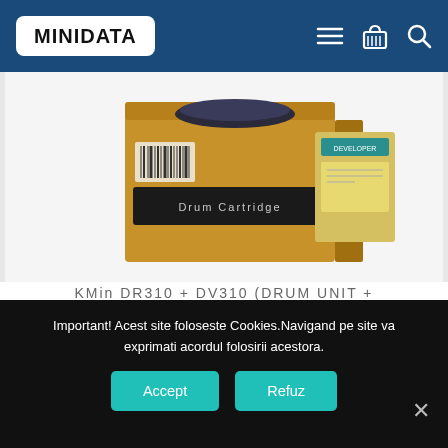[Figure (logo): MINIDATA logo in white box in blue navigation bar]
[Figure (photo): Product photo showing a Drum Cartridge box and a Developer powder box (Konica Minolta DR310 + DV310)]
KMin DR310 + DV310 (DRUM UNIT + DEVELOPER UNIT + DEV POWDER)
499.30lei  489.30lei
Important! Acest site foloseste Cookies.Navigand pe site va exprimati acordul folosirii acestora.